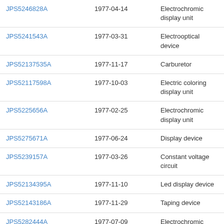| JPS5246828A | 1977-04-14 | Electrochromic display unit |
| JPS5241543A | 1977-03-31 | Electrooptical device |
| JPS52137535A | 1977-11-17 | Carburetor |
| JPS52117598A | 1977-10-03 | Electric coloring display unit |
| JPS5225656A | 1977-02-25 | Electrochromic display unit |
| JPS5275671A | 1977-06-24 | Display device |
| JPS5239157A | 1977-03-26 | Constant voltage circuit |
| JPS52134395A | 1977-11-10 | Led display device |
| JPS52143186A | 1977-11-29 | Taping device |
| JPS5282444A | 1977-07-09 | Electrochromic display unit |
| JPS5229925A | 1977-03-07 | Voltage step-up circuit |
| JPS522540A | 1977-01-10 | Stabilizing method for liquid crystal display |